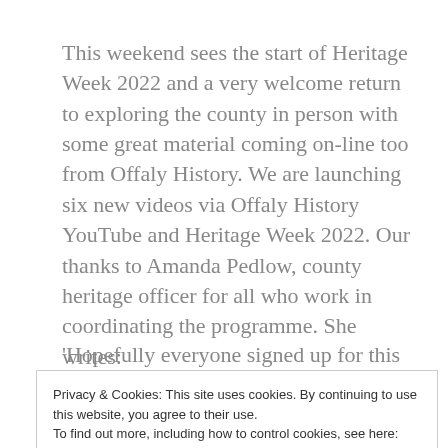This weekend sees the start of Heritage Week 2022 and a very welcome return to exploring the county in person with some great material coming on-line too from Offaly History. We are launching six new videos via Offaly History YouTube and Heritage Week 2022. Our thanks to Amanda Pedlow, county heritage officer for all who work in coordinating the programme. She writes:
'Hopefully everyone signed up for this email has by now received the pdf / hard copy Offaly Heritage
Privacy & Cookies: This site uses cookies. By continuing to use this website, you agree to their use. To find out more, including how to control cookies, see here: Cookie Policy
Close and accept
ws-Events/Heritage-Week-Brochure-2022.pdf  or